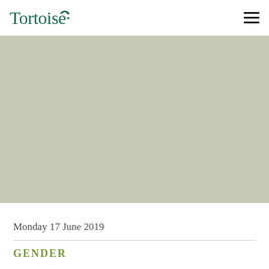Tortoise
[Figure (photo): Large grey-green placeholder hero image area]
Monday 17 June 2019
Gender